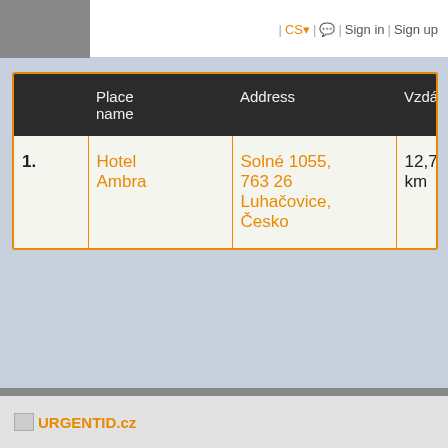| CS▾ | 💬 | Sign in | Sign up
|  | Place name | Address | Vzdálenost |
| --- | --- | --- | --- |
| 1. | Hotel Ambra | Solné 1055, 763 26 Luhačovice, Česko | 12,79 km |
URGENTID.cz